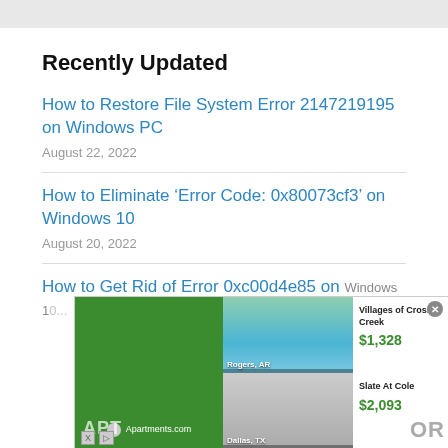Recently Updated
How to Restore File System Error 2147219195 on Windows PC
August 22, 2022
How to Eliminate ‘Error Code: 0x80073cf3’ on Windows 10
August 20, 2022
How to Get Rid of Error 0xc00d4e85 on Windows...
[Figure (screenshot): Apartments.com advertisement overlay showing two apartment listings: Villages of Cross Creek in Rogers, AR at $1,328 and Slate At Cole in Dallas, TX at $2,093. Green background with Apartments.com logo on left side.]